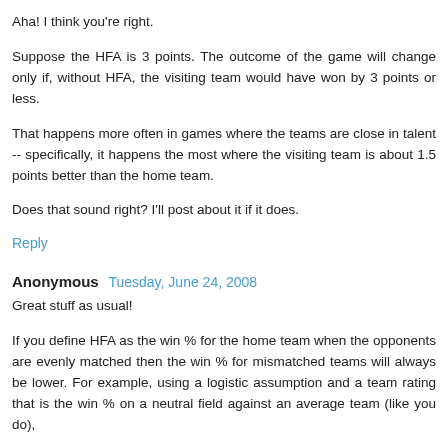Aha! I think you're right.
Suppose the HFA is 3 points. The outcome of the game will change only if, without HFA, the visiting team would have won by 3 points or less.
That happens more often in games where the teams are close in talent -- specifically, it happens the most where the visiting team is about 1.5 points better than the home team.
Does that sound right? I'll post about it if it does.
Reply
Anonymous  Tuesday, June 24, 2008
Great stuff as usual!
If you define HFA as the win % for the home team when the opponents are evenly matched then the win % for mismatched teams will always be lower. For example, using a logistic assumption and a team rating that is the win % on a neutral field against an average team (like you do),